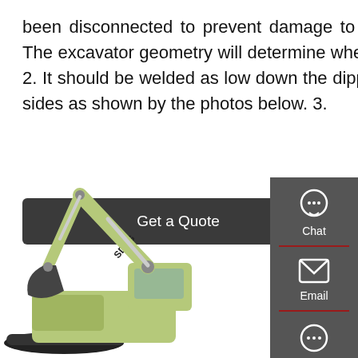been disconnected to prevent damage to the machine circuit. Manifold block 1. The excavator geometry will determine where the manifold block should be placed 2. It should be welded as low down the dipper arm as possible on either the top or sides as shown by the photos below. 3.
[Figure (other): Dark rounded rectangle button labeled 'Get a Quote']
[Figure (infographic): Sidebar panel with Chat (headset icon), Email (envelope icon), and Contact (speech bubble icon) buttons on dark grey background with red dividers]
[Figure (photo): SDLG branded green excavator with arm extended, photographed on white background]